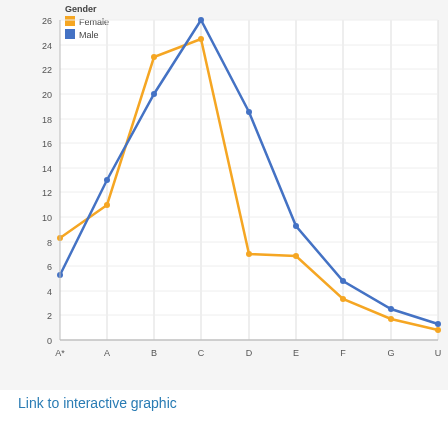[Figure (line-chart): ]
Link to interactive graphic